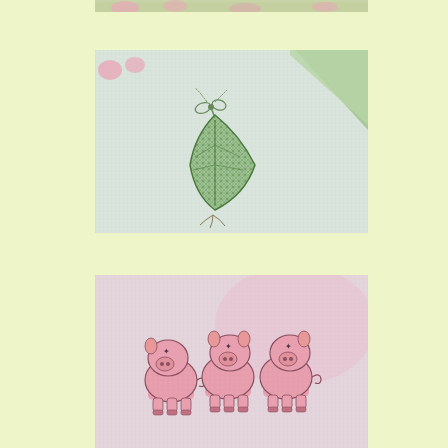[Figure (photo): Partial view of cross-stitch embroidery fabric with colorful pig and animal motifs at the top edge of the page]
[Figure (photo): Close-up photograph of cross-stitch embroidery on light fabric showing a green leaf or corn design with a bow, with a folded corner revealing a green backing]
[Figure (photo): Photograph of cross-stitch embroidery on light fabric showing three pink cartoon pigs standing side by side]